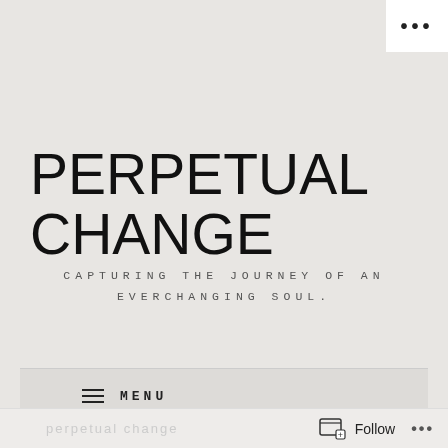[Figure (screenshot): Three dots icon in top-right corner of browser/app chrome]
PERPETUAL CHANGE
CAPTURING THE JOURNEY OF AN EVERCHANGING SOUL.
≡ MENU
Follow ...